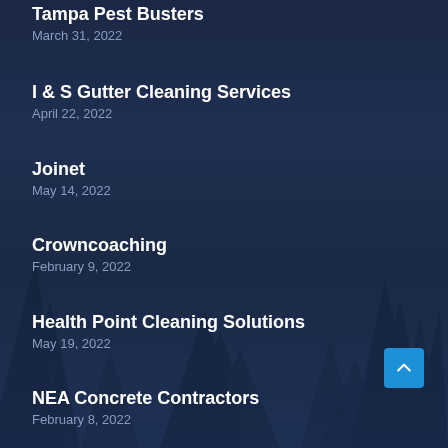Tampa Pest Busters
March 31, 2022
I & S Gutter Cleaning Services
April 22, 2022
Joinet
May 14, 2022
Crowncoaching
February 9, 2022
Health Point Cleaning Solutions
May 19, 2022
NEA Concrete Contractors
February 8, 2022